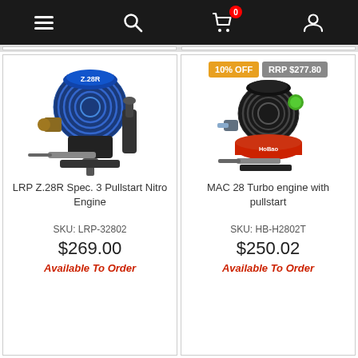Navigation bar with menu, search, cart (0 items), and user account icons
[Figure (photo): LRP Z.28R Spec. 3 Pullstart Nitro Engine — blue finned engine with pullstart mechanism]
LRP Z.28R Spec. 3 Pullstart Nitro Engine
SKU: LRP-32802
$269.00
Available To Order
[Figure (photo): MAC 28 Turbo engine with pullstart — black finned engine with red base and green pull starter]
10% OFF
RRP $277.80
MAC 28 Turbo engine with pullstart
SKU: HB-H2802T
$250.02
Available To Order